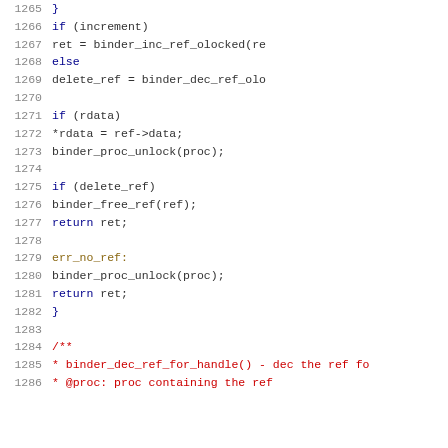Source code listing lines 1265-1286, C code for binder reference handling including err_no_ref label and binder_dec_ref_for_handle function comment start